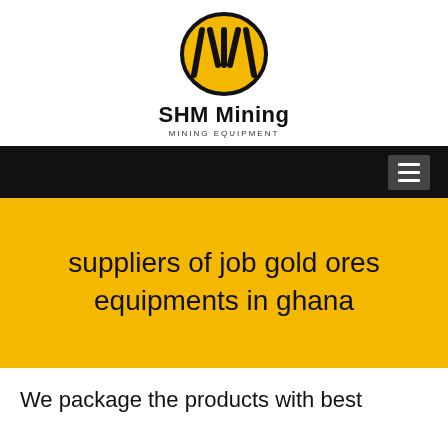[Figure (logo): SHM Mining logo: yellow oval with black diagonal lines forming a stylized W/shield shape, with text 'SHM Mining' and 'MINING EQUIPMENT' below]
[Figure (other): Black navigation bar with hamburger menu icon on the right]
suppliers of job gold ores equipments in ghana
We package the products with best